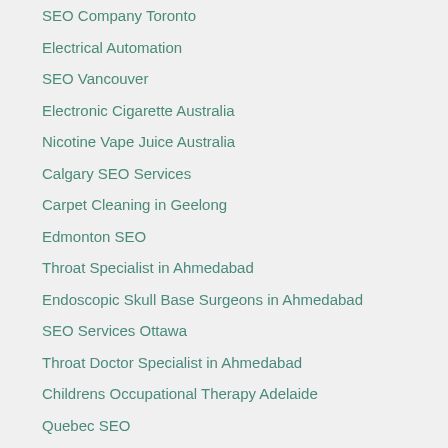SEO Company Toronto
Electrical Automation
SEO Vancouver
Electronic Cigarette Australia
Nicotine Vape Juice Australia
Calgary SEO Services
Carpet Cleaning in Geelong
Edmonton SEO
Throat Specialist in Ahmedabad
Endoscopic Skull Base Surgeons in Ahmedabad
SEO Services Ottawa
Throat Doctor Specialist in Ahmedabad
Childrens Occupational Therapy Adelaide
Quebec SEO